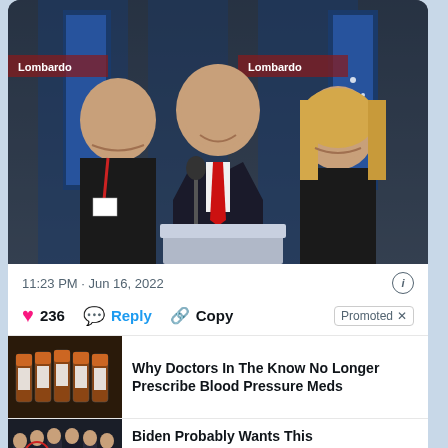[Figure (photo): Three people posing at what appears to be a political event with 'Lombardo' campaign banners and American/Nevada flags in the background. Center person wears suit with red tie.]
11:23 PM · Jun 16, 2022
236  Reply  Copy  Promoted ×
[Figure (photo): Advertisement thumbnail showing several prescription pill bottles on a dark surface.]
Why Doctors In The Know No Longer Prescribe Blood Pressure Meds
[Figure (photo): Advertisement thumbnail showing a group of people in formal wear, with a circular play button overlay, appearing to be a video ad.]
Biden Probably Wants This Video Destroyed — US Dollar On Path Towards Replacement?